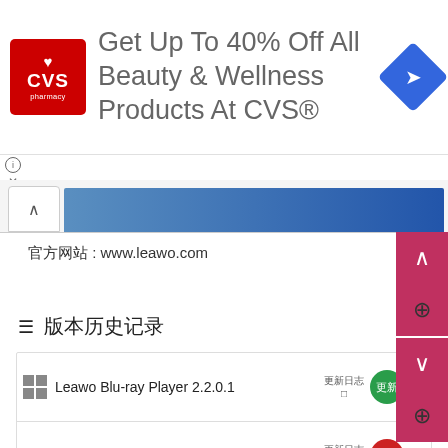[Figure (screenshot): CVS Pharmacy advertisement banner: red CVS logo on left, text 'Get Up To 40% Off All Beauty & Wellness Products At CVS®' in center, blue navigation diamond icon on right]
[Figure (screenshot): Scroll bar with up-arrow button and blue image strip]
官方网站 : www.leawo.com
☰ 版本历史记录
| 软件名称 | 版本 | 操作 |
| --- | --- | --- |
| Leawo Blu-ray Player 2.2.0.1 | 更新日志 | 更新 |
| Leawo DVD Copy 11.0.1 for macOS | 更新日志 | 更新 |
| Leawo DVD Copy 11.0.0.1 for Windows | 更新日志 | 更新 |